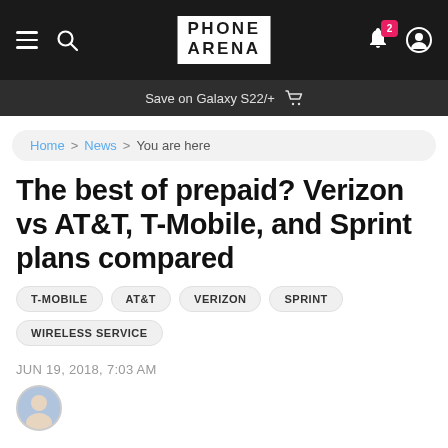PHONE ARENA — navigation bar with hamburger menu, search, logo, bell (2 notifications), user icon
Save on Galaxy S22/+
Home > News > You are here
The best of prepaid? Verizon vs AT&T, T-Mobile, and Sprint plans compared
T-MOBILE
AT&T
VERIZON
SPRINT
WIRELESS SERVICE
JUN 19, 2018, 7:03 AM